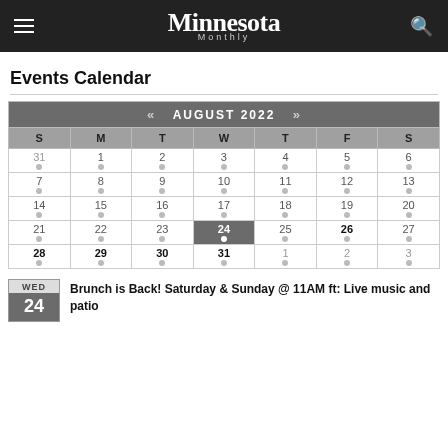Minnesota Monthly
Events Calendar
| S | M | T | W | T | F | S |
| --- | --- | --- | --- | --- | --- | --- |
| 31 | 1 | 2 | 3 | 4 | 5 | 6 |
| 7 | 8 | 9 | 10 | 11 | 12 | 13 |
| 14 | 15 | 16 | 17 | 18 | 19 | 20 |
| 21 | 22 | 23 | 24 | 25 | 26 | 27 |
| 28 | 29 | 30 | 31 | 1 | 2 | 3 |
Brunch is Back! Saturday & Sunday @ 11AM ft: Live music and patio